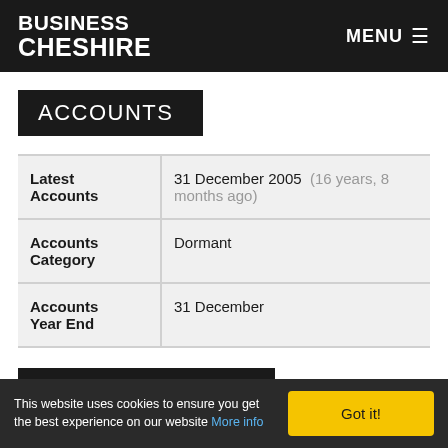BUSINESS CHESHIRE | MENU
ACCOUNTS
| Field | Value |
| --- | --- |
| Latest Accounts | 31 December 2005  (16 years, 8 months ago) |
| Accounts Category | Dormant |
| Accounts Year End | 31 December |
FILING HISTORY
This website uses cookies to ensure you get the best experience on our website More info
Got it!